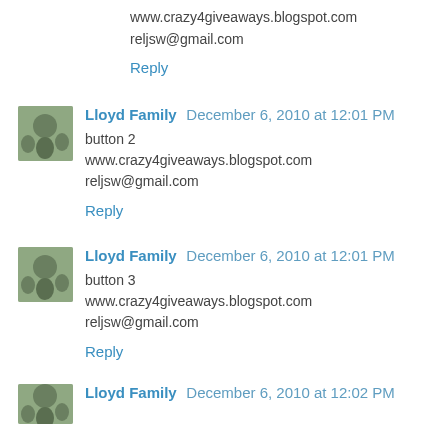www.crazy4giveaways.blogspot.com
reljsw@gmail.com
Reply
Lloyd Family  December 6, 2010 at 12:01 PM
button 2
www.crazy4giveaways.blogspot.com
reljsw@gmail.com
Reply
Lloyd Family  December 6, 2010 at 12:01 PM
button 3
www.crazy4giveaways.blogspot.com
reljsw@gmail.com
Reply
Lloyd Family  December 6, 2010 at 12:02 PM